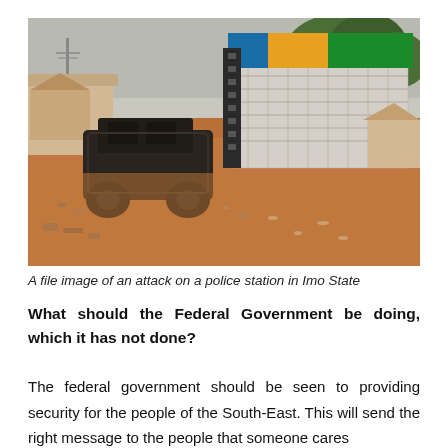[Figure (photo): A file image of a burned-out military vehicle in front of a police station building with colorful striped roof (blue, yellow, green) and stone facade. The scene shows destruction with rubble on red/orange dirt ground. Other buildings and trees visible in background.]
A file image of an attack on a police station in Imo State
What should the Federal Government be doing, which it has not done?
The federal government should be seen to providing security for the people of the South-East. This will send the right message to the people that someone cares